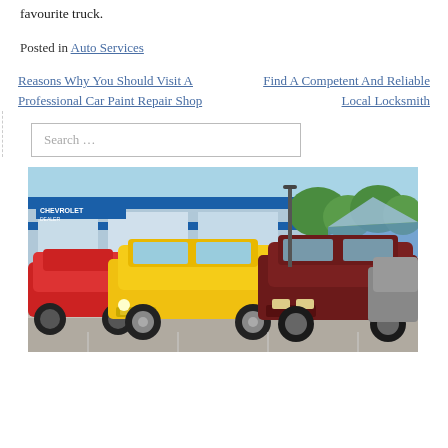favourite truck.
Posted in Auto Services
Reasons Why You Should Visit A Professional Car Paint Repair Shop   Find A Competent And Reliable Local Locksmith
[Figure (screenshot): Search bar input field with placeholder text 'Search ...']
[Figure (photo): A Chevrolet dealership parking lot with several classic and vintage cars including a yellow 1957 Chevrolet wagon and a dark red muscle car, with blue dealership building in background and a blue and white striped tent visible.]